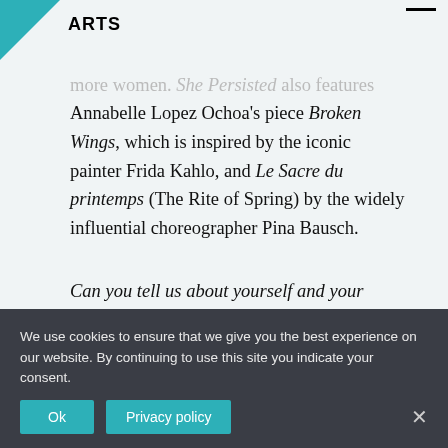ARTS
more women. She Persisted also features Annabelle Lopez Ochoa's piece Broken Wings, which is inspired by the iconic painter Frida Kahlo, and Le Sacre du printemps (The Rite of Spring) by the widely influential choreographer Pina Bausch.
Can you tell us about yourself and your work? How have you become ENB First Artist and choreographer?
I've been a dancer with English National Ballet...
We use cookies to ensure that we give you the best experience on our website. By continuing to use this site you indicate your consent.